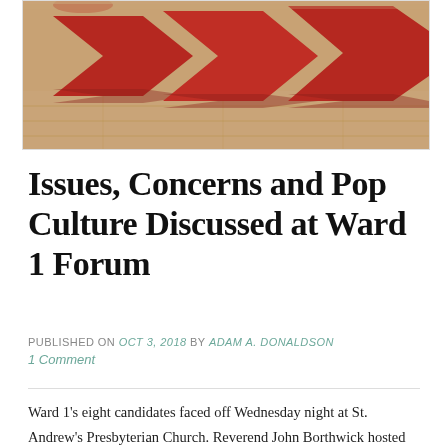[Figure (photo): Photo showing red arrow-shaped foam or wooden puzzle pieces arranged on a light wood floor background, partially visible from overhead.]
Issues, Concerns and Pop Culture Discussed at Ward 1 Forum
PUBLISHED ON Oct 3, 2018 by Adam A. Donaldson
1 Comment
Ward 1’s eight candidates faced off Wednesday night at St. Andrew’s Presbyterian Church. Reverend John Borthwick hosted the forum – not a debate – and asked the candidates about their plans, the issues from their fellow Ward 1 residents, and, surprisingly, their favourite pop culture artifact. Continue reading